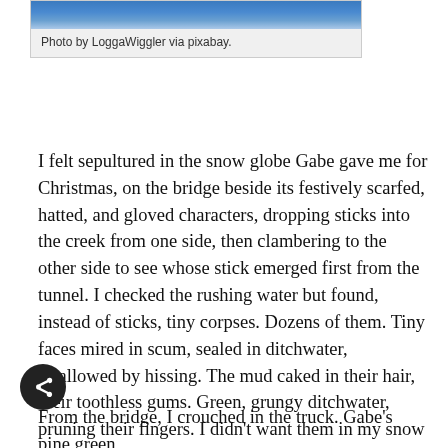[Figure (photo): Partial photo strip at top showing a blue/sky outdoor scene, partially cropped]
Photo by LoggaWiggler via pixabay.
I felt sepultured in the snow globe Gabe gave me for Christmas, on the bridge beside its festively scarfed, hatted, and gloved characters, dropping sticks into the creek from one side, then clambering to the other side to see whose stick emerged first from the tunnel. I checked the rushing water but found, instead of sticks, tiny corpses. Dozens of them. Tiny faces mired in scum, sealed in ditchwater, swallowed by hissing. The mud caked in their hair, their toothless gums. Green, grungy ditchwater, pruning their fingers. I didn't want them in my snow globe with the merry porcelain skinned children. Forever caught in the glass. I wanted childhood back, an ornament dangling from my mother's Christmas tree, safe in our living room.
From the bridge, I crouched in the truck. Gabe's pine green